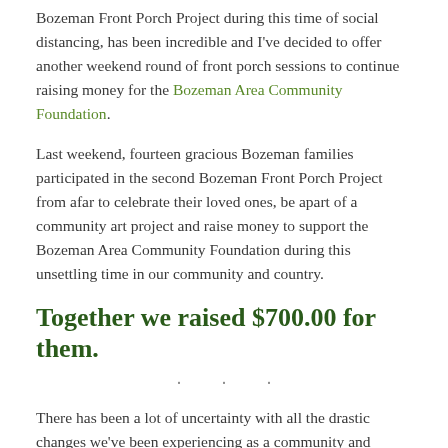Bozeman Front Porch Project during this time of social distancing, has been incredible and I've decided to offer another weekend round of front porch sessions to continue raising money for the Bozeman Area Community Foundation.
Last weekend, fourteen gracious Bozeman families participated in the second Bozeman Front Porch Project from afar to celebrate their loved ones, be apart of a community art project and raise money to support the Bozeman Area Community Foundation during this unsettling time in our community and country.
Together we raised $700.00 for them.
. . .
There has been a lot of uncertainty with all the drastic changes we've been experiencing as a community and nation these past few weeks.